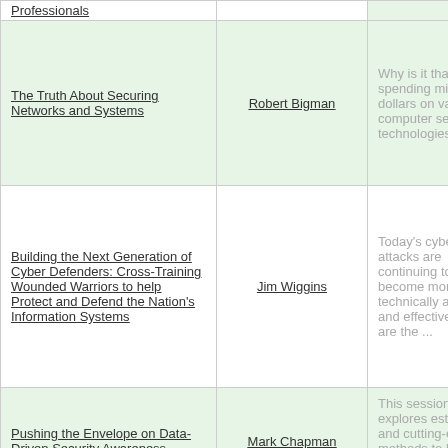| Title | Author | Description |
| --- | --- | --- |
| Professionals |  |  |
| The Truth About Securing Networks and Systems | Robert Bigman | Why is it that after spending millions of dollars on various computer security technologies, the ... |
| Building the Next Generation of Cyber Defenders: Cross-Training Wounded Warriors to help Protect and Defend the Nation's Information Systems | Jim Wiggins | Today's cyber attacks are continuing to become more technically astute and effective. Gone are the ... |
| Pushing the Envelope on Data-Driven Security Awareness | Mark Chapman | This session explores established and cutting-edge methods to help you take your social engineering ... |